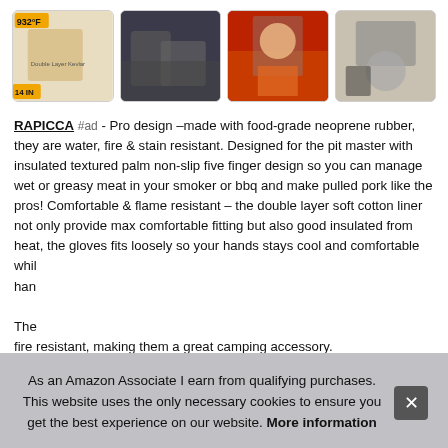[Figure (photo): Row of 4 product/usage photos: (1) oven glove product shot with '932°F' and '14 IN' labels, (2) dark colored gloves on jeans/fabric, (3) person in chef uniform handling food at industrial oven, (4) glove being used near a cooking pot]
RAPICCA #ad - Pro design –made with food-grade neoprene rubber, they are water, fire & stain resistant. Designed for the pit master with insulated textured palm non-slip five finger design so you can manage wet or greasy meat in your smoker or bbq and make pulled pork like the pros! Comfortable & flame resistant – the double layer soft cotton liner not only provide max comfortable fitting but also good insulated from heat, the gloves fits loosely so your hands stays cool and comfortable whil han The fire resistant, making them a great camping accessory.
As an Amazon Associate I earn from qualifying purchases. This website uses the only necessary cookies to ensure you get the best experience on our website. More information